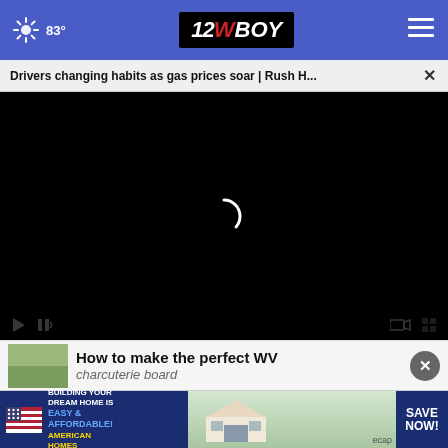83° | 12WBOY
Drivers changing habits as gas prices soar | Rush H...
[Figure (screenshot): Black video player area with white loading spinner in the center]
How to make the perfect WV charcuterie board
[Figure (infographic): American Homes advertisement: BUILDING YOUR DREAM HOME IS EASY & AFFORDABLE! SAVE NOW!]